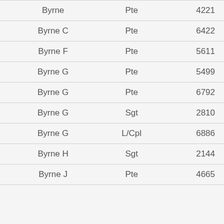| Byrne | Pte | 4221 |
| Byrne C | Pte | 6422 |
| Byrne F | Pte | 5611 |
| Byrne G | Pte | 5499 |
| Byrne G | Pte | 6792 |
| Byrne G | Sgt | 2810 |
| Byrne G | L/Cpl | 6886 |
| Byrne H | Sgt | 2144 |
| Byrne J | Pte | 4665 |